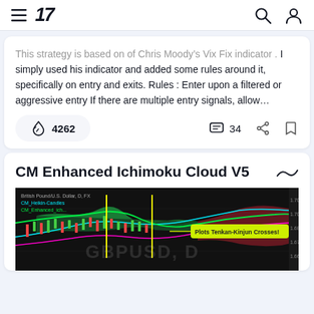TradingView navigation bar with hamburger menu, logo '17', search icon, and user icon
This strategy is based on of Chris Moody's Vix Fix indicator . I simply used his indicator and added some rules around it, specifically on entry and exits. Rules : Enter upon a filtered or aggressive entry If there are multiple entry signals, allow…
4262 boosts  34 comments
CM Enhanced Ichimoku Cloud V5
[Figure (screenshot): Ichimoku Cloud chart for British Pound/U.S. Dollar on a daily timeframe, showing candlesticks with colored Ichimoku cloud (green and red), cyan and magenta lines, yellow vertical lines, and a label 'Plots Tenkan-Kinjun Crosses!' on a yellow-green callout. GBPUSD, D watermark visible.]